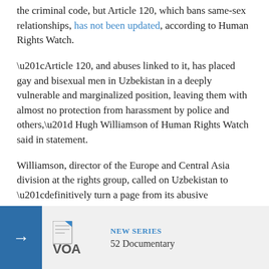the criminal code, but Article 120, which bans same-sex relationships, has not been updated, according to Human Rights Watch.
“Article 120, and abuses linked to it, has placed gay and bisexual men in Uzbekistan in a deeply vulnerable and marginalized position, leaving them with almost no protection from harassment by police and others,” Hugh Williamson of Human Rights Watch said in statement.
Williamson, director of the Europe and Central Asia division at the rights group, called on Uzbekistan to “definitively turn a page from its abusive past” and repeal the law.
Law defended
Some officials
[Figure (logo): VOA logo with NEW SERIES label and 52 Documentary text on a grey panel with blue arrow button]